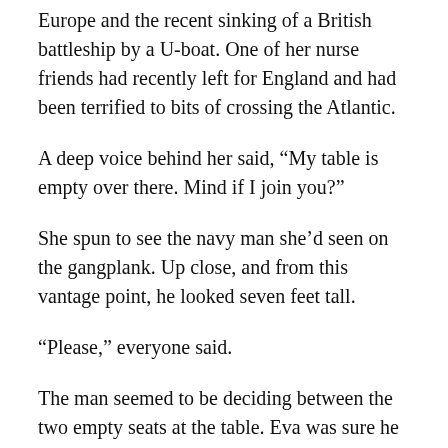Europe and the recent sinking of a British battleship by a U-boat. One of her nurse friends had recently left for England and had been terrified to bits of crossing the Atlantic.
A deep voice behind her said, “My table is empty over there. Mind if I join you?”
She spun to see the navy man she’d seen on the gangplank. Up close, and from this vantage point, he looked seven feet tall.
“Please,” everyone said.
The man seemed to be deciding between the two empty seats at the table. Eva was sure he was going to choose the one away from her, which was fine, because she wanted to learn more about Dr. Wallace, but he sat next to